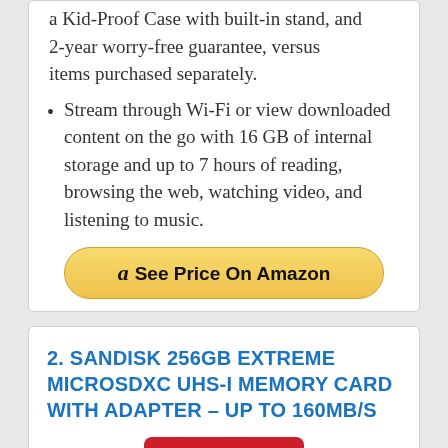a Kid-Proof Case with built-in stand, and 2-year worry-free guarantee, versus items purchased separately.
Stream through Wi-Fi or view downloaded content on the go with 16 GB of internal storage and up to 7 hours of reading, browsing the web, watching video, and listening to music.
[Figure (other): Yellow rounded button with Amazon logo 'a' and text 'See Price On Amazon']
2. SANDISK 256GB EXTREME MICROSDXC UHS-I MEMORY CARD WITH ADAPTER – UP TO 160MB/S
[Figure (logo): SanDisk Extreme red product label/logo]